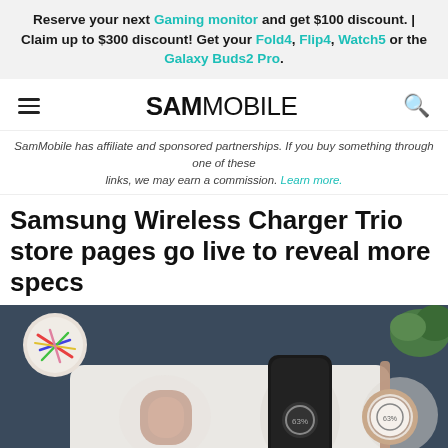Reserve your next Gaming monitor and get $100 discount. | Claim up to $300 discount! Get your Fold4, Flip4, Watch5 or the Galaxy Buds2 Pro.
SAMMOBILE
SamMobile has affiliate and sponsored partnerships. If you buy something through one of these links, we may earn a commission. Learn more.
Samsung Wireless Charger Trio store pages go live to reveal more specs
[Figure (photo): Photo of Samsung Wireless Charger Trio pad in dark blue/slate color, with Galaxy Buds case, a Samsung smartphone, and a Galaxy Watch placed on the charging pad. Colorful object and green plant visible in background. An 'X' button is overlaid in the bottom-right corner.]